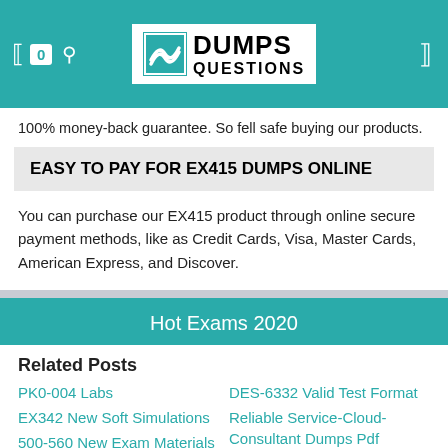[Figure (logo): DumpsQuestions logo with teal background header, cart icon showing 0, search icon, and menu icon]
100% money-back guarantee. So fell safe buying our products.
EASY TO PAY FOR EX415 DUMPS ONLINE
You can purchase our EX415 product through online secure payment methods, like as Credit Cards, Visa, Master Cards, American Express, and Discover.
Hot Exams 2020
Related Posts
PK0-004 Labs
EX342 New Soft Simulations
500-560 New Exam Materials
DES-6332 Valid Test Format
Reliable Service-Cloud-Consultant Dumps Pdf
Relevant H11-861_V2.0 Exam Dumps